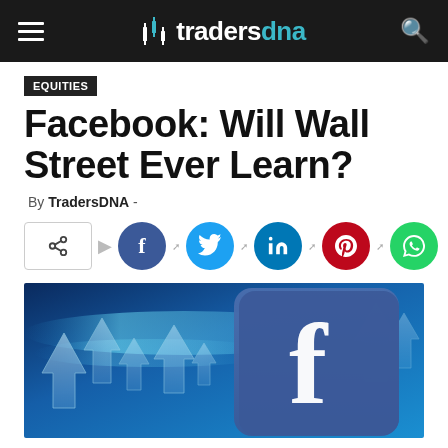tradersdna
Equities
Facebook: Will Wall Street Ever Learn?
By TradersDNA -
[Figure (other): Social media share buttons: share icon box, Facebook, Twitter, LinkedIn, Pinterest, WhatsApp]
[Figure (photo): Facebook logo 3D icon with blue glowing upward arrows in the background, on a blue financial/tech themed background]